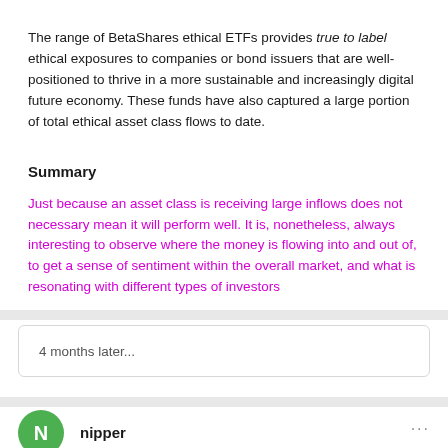The range of BetaShares ethical ETFs provides true to label ethical exposures to companies or bond issuers that are well-positioned to thrive in a more sustainable and increasingly digital future economy. These funds have also captured a large portion of total ethical asset class flows to date.
Summary
Just because an asset class is receiving large inflows does not necessary mean it will perform well. It is, nonetheless, always interesting to observe where the money is flowing into and out of, to get a sense of sentiment within the overall market, and what is resonating with different types of investors
4 months later...
nipper